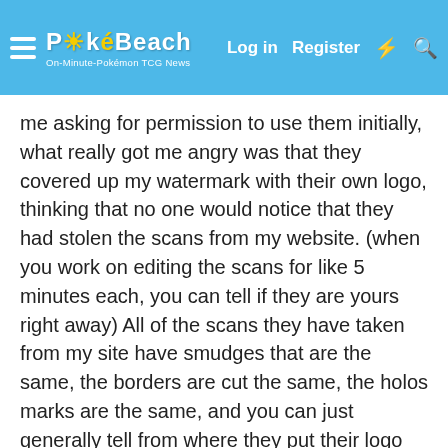PokéBeach — Log in  Register
me asking for permission to use them initially, what really got me angry was that they covered up my watermark with their own logo, thinking that no one would notice that they had stolen the scans from my website. (when you work on editing the scans for like 5 minutes each, you can tell if they are yours right away) All of the scans they have taken from my site have smudges that are the same, the borders are cut the same, the holos marks are the same, and you can just generally tell from where they put their logo that it is meant to cover my own watermark.
After sending them SEVERAL emails to SEVERAL of their staff members, as well as contacting a couple of people who know them over the past few weeks, I still have not received any response from them. Now, I believe they got wind of my message yesterday, which was when they posted their Shining